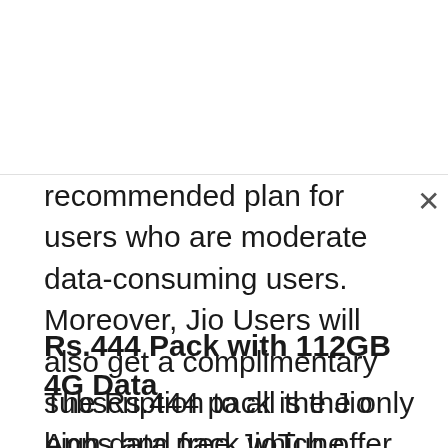recommended plan for users who are moderate data-consuming users. Moreover, Jio Users will also get a complimentary subscription to all the Jio Apps and free JioTune facility with unlimited changes.
Rs.444 Pack with 112GB 4G Data
The Rs.444 pack is the only high data pack which offer the validity of 56Days. The plan offers 3GB 4G Data per day along with 100 Local and National SMS per Day. In terms of calling, Subscribers will get Unlimited Jio to Jio Calls and Jio to Non-Jio